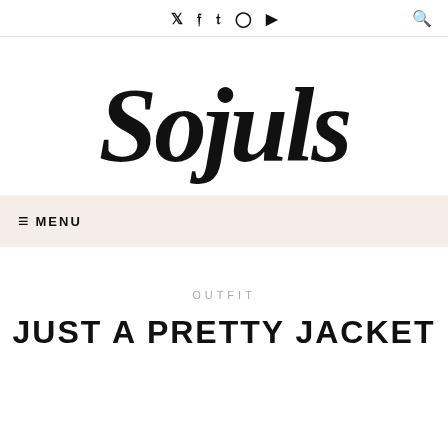Social icons: Twitter, Facebook, Pinterest, Instagram, YouTube | Search
[Figure (logo): Sojuls script/brush lettering logo in black on white background]
≡ MENU
OUTFIT
JUST A PRETTY JACKET